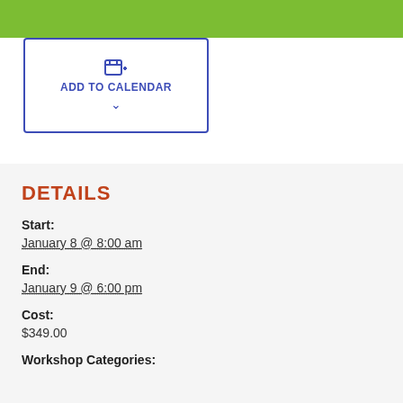[Figure (other): Green header bar at top of page]
[Figure (other): Add to Calendar button with calendar icon and chevron, bordered blue box]
DETAILS
Start:
January 8 @ 8:00 am
End:
January 9 @ 6:00 pm
Cost:
$349.00
Workshop Categories: